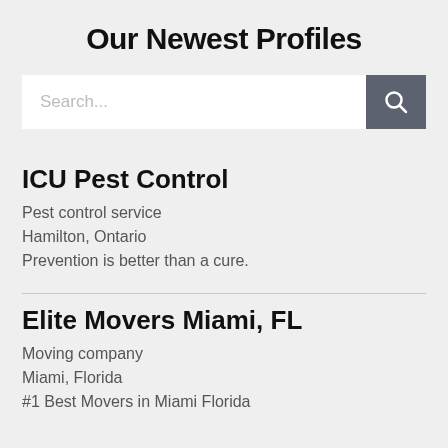Our Newest Profiles
[Figure (screenshot): Search bar with text input field showing placeholder 'Search...' and a dark grey search button with magnifying glass icon]
ICU Pest Control
Pest control service
Hamilton, Ontario
Prevention is better than a cure.
Elite Movers Miami, FL
Moving company
Miami, Florida
#1 Best Movers in Miami Florida